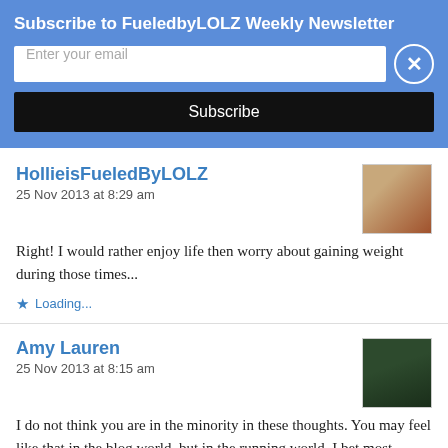Subscribe to FueledbyLOLZ Weekly Newsletter
Enter your email
Subscribe
HollieisFueledByLOLZ
25 Nov 2013 at 8:29 am
Right! I would rather enjoy life then worry about gaining weight during those times...
Loading...
Amy Lauren
25 Nov 2013 at 8:15 am
I do not think you are in the minority in these thoughts. You may feel like that in the blog world, but in the running world, I bet most would agree that running multiple hard races back